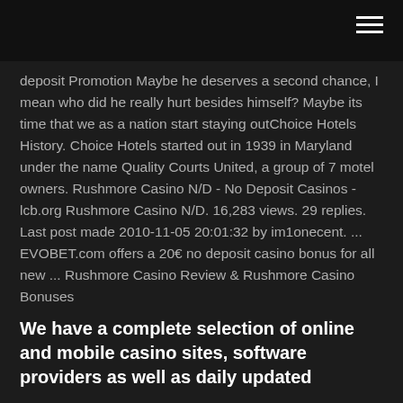deposit Promotion Maybe he deserves a second chance, I mean who did he really hurt besides himself? Maybe its time that we as a nation start staying outChoice Hotels History. Choice Hotels started out in 1939 in Maryland under the name Quality Courts United, a group of 7 motel owners. Rushmore Casino N/D - No Deposit Casinos - lcb.org Rushmore Casino N/D. 16,283 views. 29 replies. Last post made 2010-11-05 20:01:32 by im1onecent. ... EVOBET.com offers a 20€ no deposit casino bonus for all new ... Rushmore Casino Review & Rushmore Casino Bonuses
We have a complete selection of online and mobile casino sites, software providers as well as daily updated